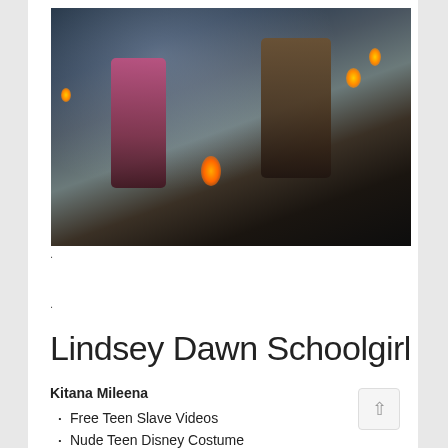[Figure (screenshot): Video game screenshot showing two characters in a dark, snowy environment with glowing fire/torch light. Fantasy fighting game scene.]
.
.
Lindsey Dawn Schoolgirl
Kitana Mileena
Free Teen Slave Videos
Nude Teen Disney Costume
Teen Hookup Apps
Big Booty Ass Up